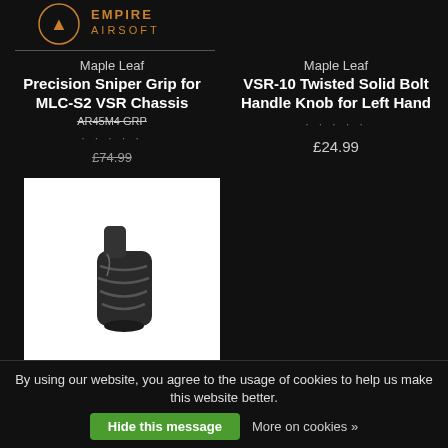EMPIRE AIRSOFT
Maple Leaf
Precision Sniper Grip for MLC-S2 VSR Chassis
· · · · ·
£74.99
Maple Leaf
VSR-10 Twisted Solid Bolt Handle Knob for Left Hand
· · · · ·
£24.99
[Figure (photo): Maple Leaf VSR-10 Twisted Solid Bolt Handle Knob — a cylindrical dark metal knob with spiral grooves, shown on white background]
By using our website, you agree to the usage of cookies to help us make this website better.
Hide this message
More on cookies »